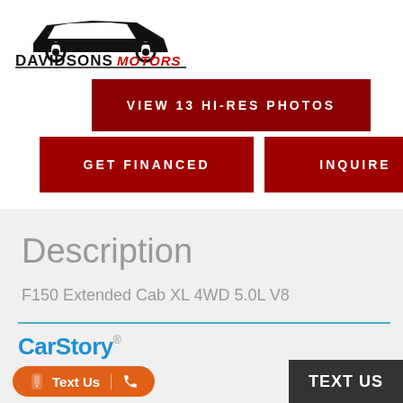[Figure (logo): Davidsons Motors car dealership logo with car silhouette above text]
[Figure (screenshot): Dark red button: VIEW 13 HI-RES PHOTOS]
[Figure (screenshot): Dark red button: GET FINANCED]
[Figure (screenshot): Dark red button: INQUIRE]
Description
F150 Extended Cab XL 4WD 5.0L V8
[Figure (logo): CarStory logo in blue]
[Figure (screenshot): Orange rounded button: Text Us with phone icon and call icon, plus dark TEXT US button on right]